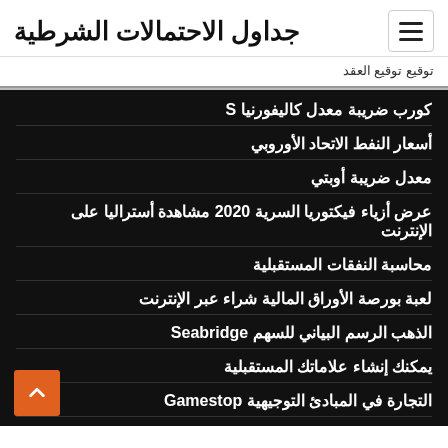جداول الاحتمالات الشرطية
توقيع توقيع العقد
كورب ضريبة معدل كاليفورنيا S
أسعار النفط الاتحاد الأوروبي
معدل ضريبة أوبتي
عرض أزياء فيكتوريا السرية 2020 مشاهدة أستراليا على الإنترنت
محاسبة النفقات المستقبلية
لعبة بورصة الأوراق المالية شراء عبر الإنترنت
الذهب الرسم البياني للسهم Seabridge
يمكنك إنشاء علاماتك المستقبلية
التجارة في المبادئ التوجيهية Gamestop
التحليل الفني لسوق كراتشي